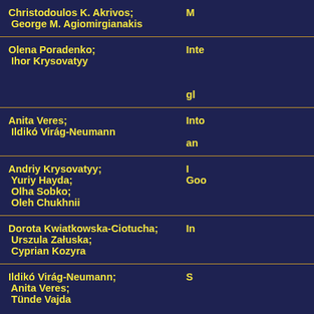| Authors | Title (partial) |
| --- | --- |
| Christodoulos K. Akrivos;
George M. Agiomirgianakis | M… |
| Olena Poradenko;
Ihor Krysovatyy | Inte…

gl… |
| Anita Veres;
Ildikó Virág-Neumann | Into…
an… |
| Andriy Krysovatyy;
Yuriy Hayda;
Olha Sobko;
Oleh Chukhnii | I…
Goo… |
| Dorota Kwiatkowska-Ciotucha;
Urszula Załuska;
Cyprian Kozyra | In… |
| Ildikó Virág-Neumann;
Anita Veres;
Tünde Vajda | S… |